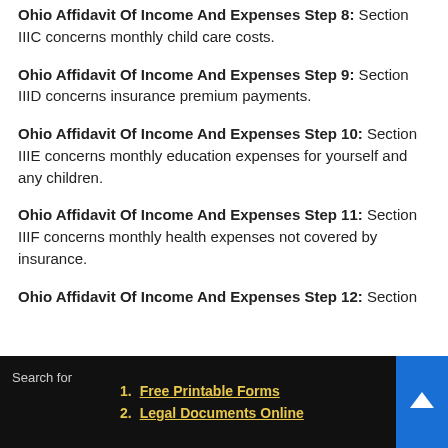Ohio Affidavit Of Income And Expenses Step 8: Section IIIC concerns monthly child care costs.
Ohio Affidavit Of Income And Expenses Step 9: Section IIID concerns insurance premium payments.
Ohio Affidavit Of Income And Expenses Step 10: Section IIIE concerns monthly education expenses for yourself and any children.
Ohio Affidavit Of Income And Expenses Step 11: Section IIIF concerns monthly health expenses not covered by insurance.
Ohio Affidavit Of Income And Expenses Step 12: Section
Search for
1. Free Printable Forms
2. Legal Documents Online